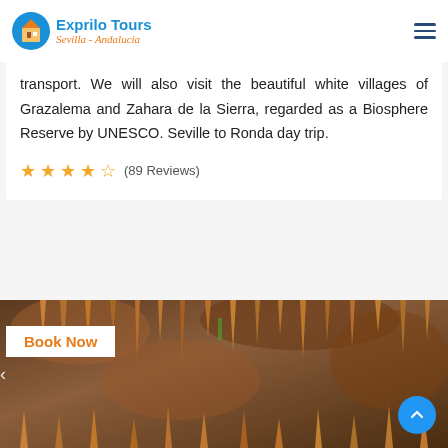Exprilo Tours Sevilla - Andalucia
transport. We will also visit the beautiful white villages of Grazalema and Zahara de la Sierra, regarded as a Biosphere Reserve by UNESCO. Seville to Ronda day trip.
(89 Reviews)
[Figure (photo): Cave interior showing stalactites and stalagmites with orange-brown rock formations]
Book Now